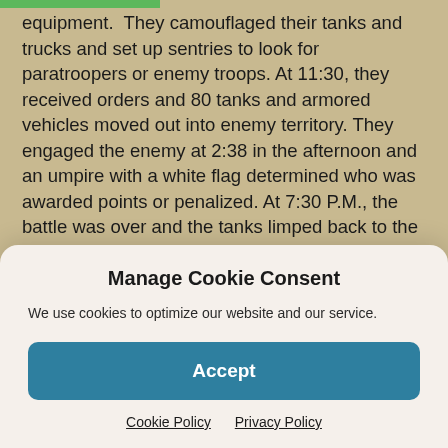equipment.  They camouflaged their tanks and trucks and set up sentries to look for paratroopers or enemy troops. At 11:30, they received orders and 80 tanks and armored vehicles moved out into enemy territory. They engaged the enemy at 2:38 in the afternoon and an umpire with a white flag determined who was awarded points or penalized. At 7:30 P.M., the battle was over and the tanks limped back to the bivouac where they were fueled and oiled for the next day.

The one good thing that came out of the maneuvers was
Manage Cookie Consent
We use cookies to optimize our website and our service.
Accept
Cookie Policy   Privacy Policy